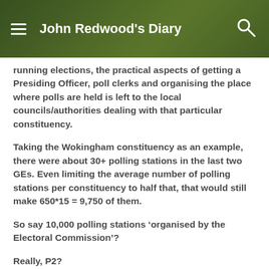John Redwood's Diary
running elections, the practical aspects of getting a Presiding Officer, poll clerks and organising the place where polls are held is left to the local councils/authorities dealing with that particular constituency.
Taking the Wokingham constituency as an example, there were about 30+ polling stations in the last two GEs. Even limiting the average number of polling stations per constituency to half that, that would still make 650*15 = 9,750 of them.
So say 10,000 polling stations ‘organised by the Electoral Commission’?
Really, P2?